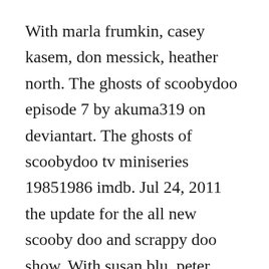With marla frumkin, casey kasem, don messick, heather north. The ghosts of scoobydoo episode 7 by akuma319 on deviantart. The ghosts of scoobydoo tv miniseries 19851986 imdb. Jul 24, 2011 the update for the all new scooby doo and scrappy doo show. With susan blu, peter cullen, bob holt, arte johnson. Directed by oscar dufau, rudy zamora, ray patterson.
Our players are mobile html5 friendly, responsive with chromecast support. Oneseason the new scooby and scrappy doo